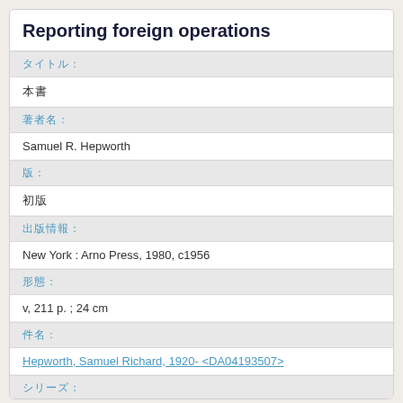Reporting foreign operations
タイトル:
本書
著者名:
Samuel R. Hepworth
版:
初版
出版情報:
New York : Arno Press, 1980, c1956
形態:
v, 211 p. ; 24 cm
件名:
Hepworth, Samuel Richard, 1920- <DA04193507>
シリーズ:
Dimensions of accounting theory and practice <BA0076096X>
ID: